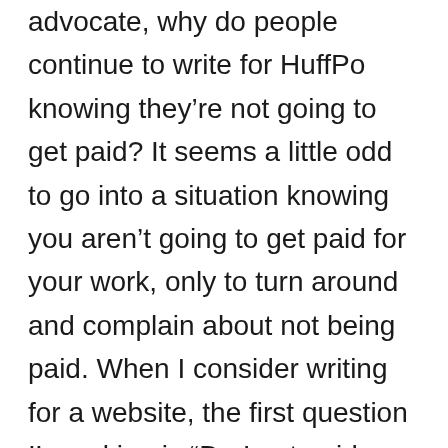advocate, why do people continue to write for HuffPo knowing they’re not going to get paid? It seems a little odd to go into a situation knowing you aren’t going to get paid for your work, only to turn around and complain about not being paid. When I consider writing for a website, the first question I’m asking is “Do I get paid and, if so, how much?” I won’t write for free, so if the answer is no I just move on. This is why I’ve done very little writing on the web. Most of these websites don’t pay their writers. Arguably, they are a great way to build up your audience if you’re, say,